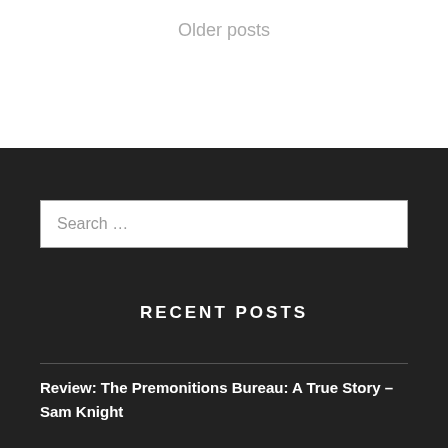Older posts
Search …
RECENT POSTS
Review: The Premonitions Bureau: A True Story – Sam Knight